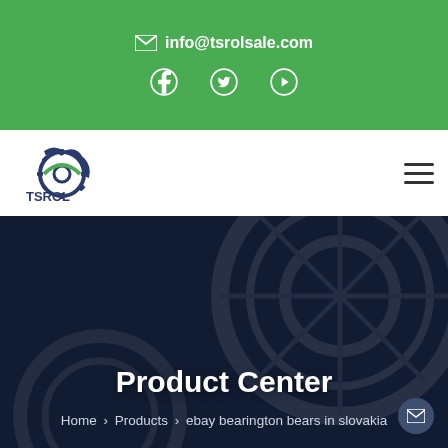info@tsrolsale.com
[Figure (logo): TSROL company logo with gear icon]
Product Center
Home > Products > ebay bearington bears in slovakia